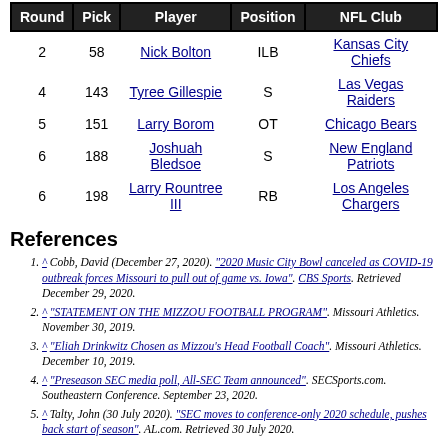| Round | Pick | Player | Position | NFL Club |
| --- | --- | --- | --- | --- |
| 2 | 58 | Nick Bolton | ILB | Kansas City Chiefs |
| 4 | 143 | Tyree Gillespie | S | Las Vegas Raiders |
| 5 | 151 | Larry Borom | OT | Chicago Bears |
| 6 | 188 | Joshuah Bledsoe | S | New England Patriots |
| 6 | 198 | Larry Rountree III | RB | Los Angeles Chargers |
References
^ Cobb, David (December 27, 2020). "2020 Music City Bowl canceled as COVID-19 outbreak forces Missouri to pull out of game vs. Iowa". CBS Sports. Retrieved December 29, 2020.
^ "STATEMENT ON THE MIZZOU FOOTBALL PROGRAM". Missouri Athletics. November 30, 2019.
^ "Eliah Drinkwitz Chosen as Mizzou's Head Football Coach". Missouri Athletics. December 10, 2019.
^ "Preseason SEC media poll, All-SEC Team announced". SECSports.com. Southeastern Conference. September 23, 2020.
^ Talty, John (30 July 2020). "SEC moves to conference-only 2020 schedule, pushes back start of season". AL.com. Retrieved 30 July 2020.